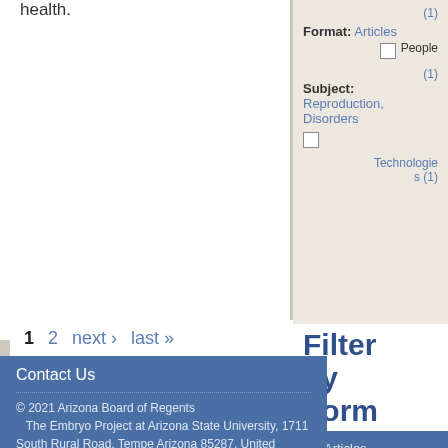health. (1)
Format: Articles
People (1)
Subject: Reproduction, Disorders
Technologies (1)
1  2  next ›  last »
Filter by Form
Contact Us
© 2021 Arizona Board of Regents
The Embryo Project at Arizona State University, 1711 South Rural Road, Tempe Arizona 85287, United States
Articles
Essays and Theses (2)